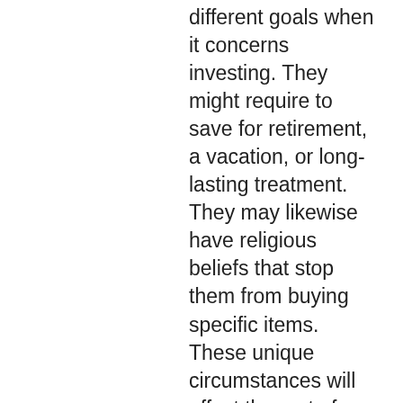different goals when it concerns investing. They might require to save for retirement, a vacation, or long-lasting treatment. They may likewise have religious beliefs that stop them from buying specific items. These unique circumstances will affect the sort of financial investment you make as well as the quantity of danger you are willing to take. The appropriate sort of financial investment will depend upon your danger resistance as well as your total economic objectives. For instance, you could intend to buy stocks to stay clear of shedding cash, while if you intend to use your cash for humanitarian endeavors